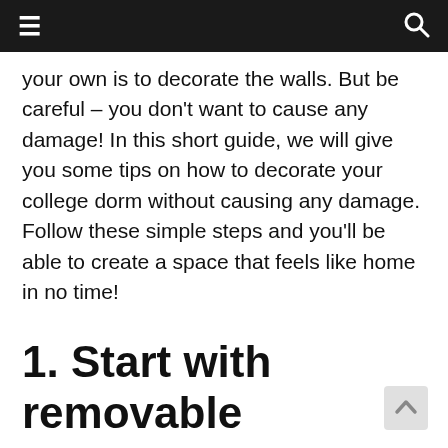≡  🔍
your own is to decorate the walls. But be careful – you don't want to cause any damage! In this short guide, we will give you some tips on how to decorate your college dorm without causing any damage. Follow these simple steps and you'll be able to create a space that feels like home in no time!
1. Start with removable adhesive hooks
Adhesive hooks are a great way to hang things